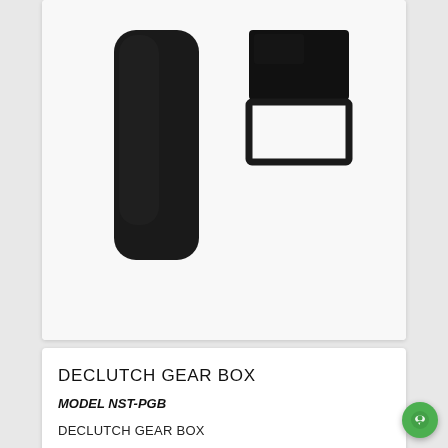[Figure (photo): Photo of a declutch gear box product (black plastic mechanism with handle), top portion cropped, showing two components side by side on white background.]
DECLUTCH GEAR BOX
MODEL NST-PGB
DECLUTCH GEAR BOX
[Figure (photo): Photo of a black circular declutch gear box component viewed from the top/front, showing ridged body and connector port, on white background.]